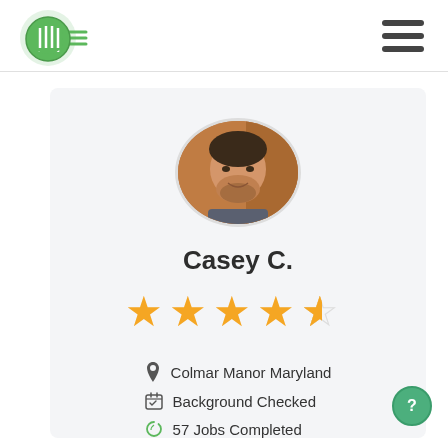[Figure (logo): Green circular logo with grid/hand icon and horizontal lines]
[Figure (illustration): Hamburger menu icon (three horizontal dark bars)]
[Figure (photo): Circular profile photo of a young man with beard, smiling]
Casey C.
[Figure (illustration): 4.5 star rating shown in gold/orange stars]
Colmar Manor Maryland
Background Checked
57 Jobs Completed